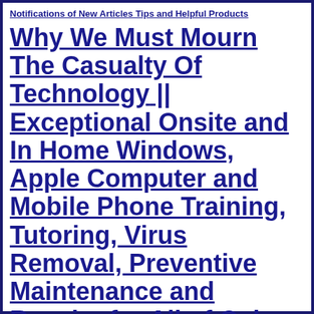Notifications of New Articles Tips and Helpful Products
Why We Must Mourn The Casualty Of Technology || Exceptional Onsite and In Home Windows, Apple Computer and Mobile Phone Training, Tutoring, Virus Removal, Preventive Maintenance and Repairs for All of Oahu Call or Text 224.1870 Mainland U.S.A. Text Only 808.224.1870 for